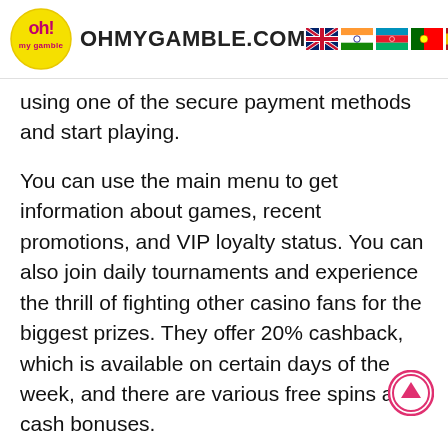OHMYGAMBLE.COM
using one of the secure payment methods and start playing.
You can use the main menu to get information about games, recent promotions, and VIP loyalty status. You can also join daily tournaments and experience the thrill of fighting other casino fans for the biggest prizes. They offer 20% cashback, which is available on certain days of the week, and there are various free spins and cash bonuses.
# 5. TrueFlip Casino.
TrueFlip is an exciting game concept that can take your game and your chances of winning to the next level. This exciting blockchain casino has developed its games and